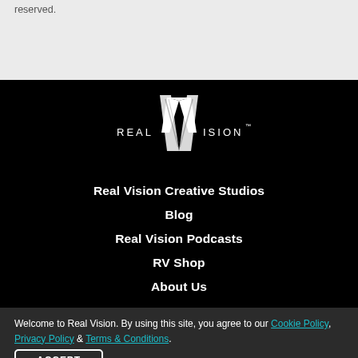reserved.
[Figure (logo): Real Vision logo — stylized white V with text REAL VISION TM on black background]
Real Vision Creative Studios
Blog
Real Vision Podcasts
RV Shop
About Us
Welcome to Real Vision. By using this site, you agree to our Cookie Policy, Privacy Policy & Terms & Conditions.
ACCEPT